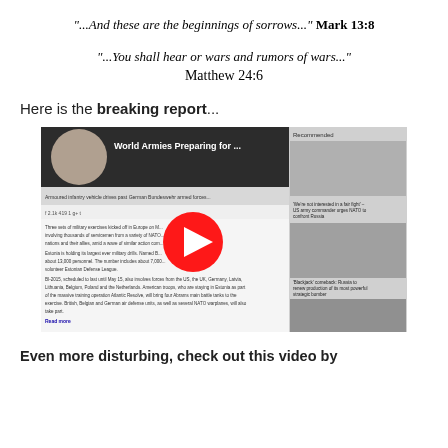"...And these are the beginnings of sorrows..." Mark 13:8
"...You shall hear or wars and rumors of wars..." Matthew 24:6
Here is the breaking report...
[Figure (screenshot): YouTube video thumbnail showing 'World Armies Preparing for ...' with a play button overlay and a recommended sidebar on the right]
Even more disturbing, check out this video by